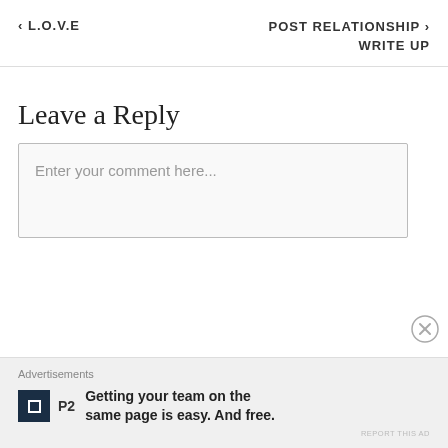‹ L.O.V.E
POST RELATIONSHIP › WRITE UP
Leave a Reply
Enter your comment here...
Advertisements
P2  Getting your team on the same page is easy. And free.